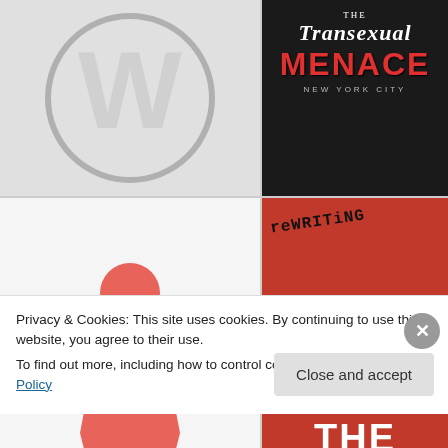[Figure (logo): WordPress logo - white W in a circle on light gray background]
[Figure (photo): Person wearing a black vest with 'The Transexual Menace New York City' text in red and white]
[Figure (illustration): Stylized red human figure / fountain pen nib icon on light gray background]
[Figure (photo): Red book cover with 'reWRITING THE RULES' text, handwritten 'reWRITING' over bold white THE RULES text]
Privacy & Cookies: This site uses cookies. By continuing to use this website, you agree to their use.
To find out more, including how to control cookies, see here: Cookie Policy
Close and accept